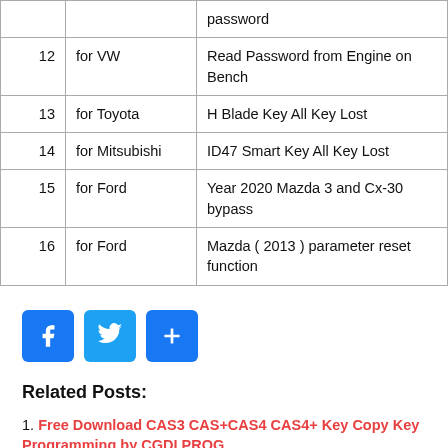|  |  |  |
| --- | --- | --- |
|  |  | password |
| 12 | for VW | Read Password from Engine on Bench |
| 13 | for Toyota | H Blade Key All Key Lost |
| 14 | for Mitsubishi | ID47 Smart Key All Key Lost |
| 15 | for Ford | Year 2020 Mazda 3 and Cx-30 bypass |
| 16 | for Ford | Mazda ( 2013 ) parameter reset function |
[Figure (other): Social share buttons: Facebook, Twitter, and a generic share/plus button]
Related Posts:
1. Free Download CAS3 CAS+CAS4 CAS4+ Key Copy Key Programming by CGDI PROG